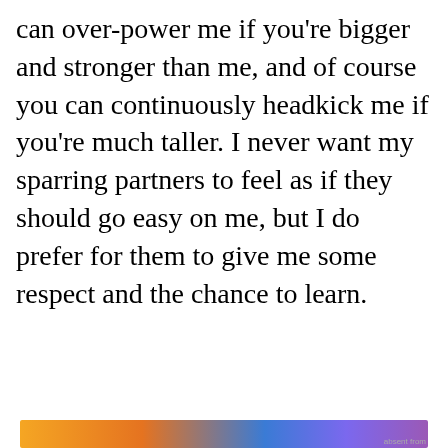can over-power me if you're bigger and stronger than me, and of course you can continuously headkick me if you're much taller. I never want my sparring partners to feel as if they should go easy on me, but I do prefer for them to give me some respect and the chance to learn.
Advertisements
[Figure (logo): Automattic logo with tagline: Build a better web and a better world.]
REPORT THIS AD
Privacy & Cookies: This site uses cookies. By continuing to use this website, you agree to their use. To find out more, including how to control cookies, see here: Cookie Policy
Close and accept